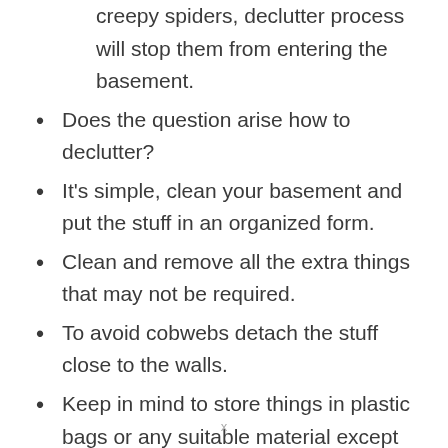creepy spiders, declutter process will stop them from entering the basement.
Does the question arise how to declutter?
It's simple, clean your basement and put the stuff in an organized form.
Clean and remove all the extra things that may not be required.
To avoid cobwebs detach the stuff close to the walls.
Keep in mind to store things in plastic bags or any suitable material except for paper